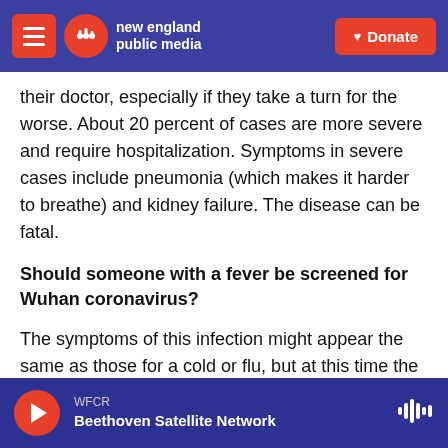new england public media | Donate
their doctor, especially if they take a turn for the worse. About 20 percent of cases are more severe and require hospitalization. Symptoms in severe cases include pneumonia (which makes it harder to breathe) and kidney failure. The disease can be fatal.
Should someone with a fever be screened for Wuhan coronavirus?
The symptoms of this infection might appear the same as those for a cold or flu, but at this time the Centers for Disease Control and Prevention's
WFCR
Beethoven Satellite Network